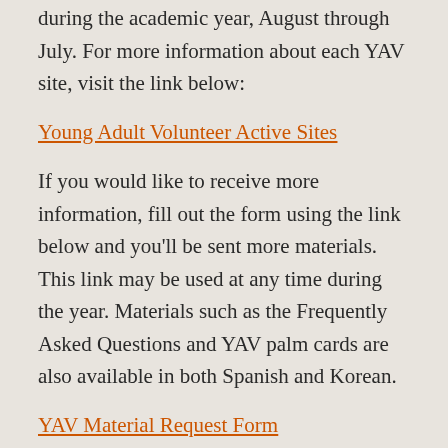during the academic year, August through July. For more information about each YAV site, visit the link below:
Young Adult Volunteer Active Sites
If you would like to receive more information, fill out the form using the link below and you'll be sent more materials. This link may be used at any time during the year. Materials such as the Frequently Asked Questions and YAV palm cards are also available in both Spanish and Korean.
YAV Material Request Form
If you are interested in hosting a local gathering of youth pastors, young adults, youth groups, etc., a visit can be arranged through Blake Collins, the associate for recruitment and relationships with the YAV program, at